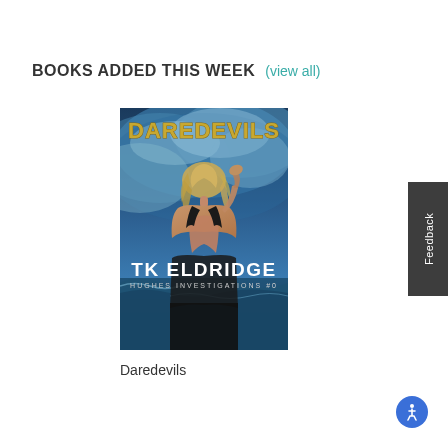BOOKS ADDED THIS WEEK (view all)
[Figure (illustration): Book cover for 'Daredevils' by TK Eldridge. Hughes Investigations #0. Shows a woman with blonde hair, back to viewer, in a black backless dress, set against a dramatic stormy ocean sky. Title 'DAREDEVILS' in gold letters at top, author name 'TK ELDRIDGE' in white at bottom.]
Daredevils